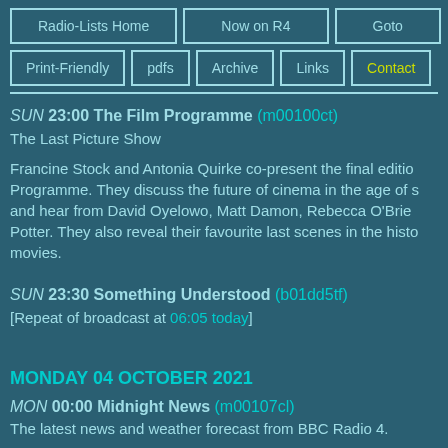Radio-Lists Home | Now on R4 | Goto | Print-Friendly | pdfs | Archive | Links | Contact
SUN 23:00 The Film Programme (m00100ct) The Last Picture Show
Francine Stock and Antonia Quirke co-present the final edition of The Film Programme. They discuss the future of cinema in the age of streaming and hear from David Oyelowo, Matt Damon, Rebecca O'Brien and Sally Potter. They also reveal their favourite last scenes in the history of movies.
SUN 23:30 Something Understood (b01dd5tf) [Repeat of broadcast at 06:05 today]
MONDAY 04 OCTOBER 2021
MON 00:00 Midnight News (m00107cl) The latest news and weather forecast from BBC Radio 4.